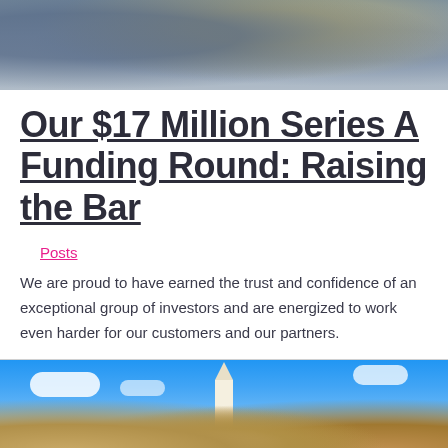[Figure (photo): Group of people celebrating or cheering, viewed from below against a bright background.]
Our $17 Million Series A Funding Round: Raising the Bar
Posts
We are proud to have earned the trust and confidence of an exceptional group of investors and are energized to work even harder for our customers and our partners.
[Figure (photo): Church or university building with a steeple against a bright blue sky with clouds and surrounding trees.]